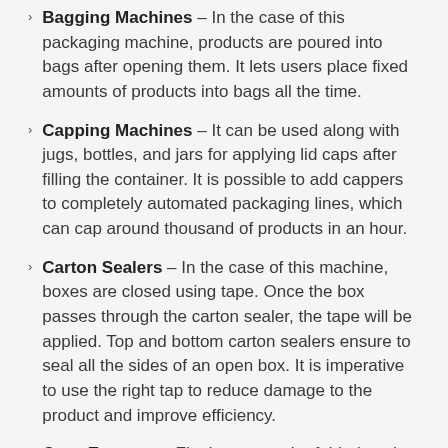Bagging Machines – In the case of this packaging machine, products are poured into bags after opening them. It lets users place fixed amounts of products into bags all the time.
Capping Machines – It can be used along with jugs, bottles, and jars for applying lid caps after filling the container. It is possible to add cappers to completely automated packaging lines, which can cap around thousand of products in an hour.
Carton Sealers – In the case of this machine, boxes are closed using tape. Once the box passes through the carton sealer, the tape will be applied. Top and bottom carton sealers ensure to seal all the sides of an open box. It is imperative to use the right tap to reduce damage to the product and improve efficiency.
Case Erectors – Flat boxes can be folded so that products can be smoothly added to them. It is placed before a carton sealer and at the beginning of a packaging line.